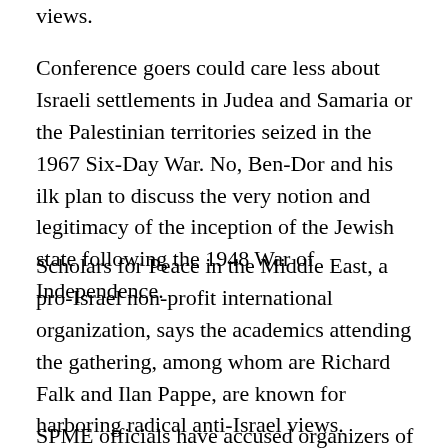views.
Conference goers could care less about Israeli settlements in Judea and Samaria or the Palestinian territories seized in the 1967 Six-Day War. No, Ben-Dor and his ilk plan to discuss the very notion and legitimacy of the inception of the Jewish state following the 1948 War of Independence.
Scholars for Peace in the Middle East, a pro-Israel non-profit international organization, says the academics attending the gathering, among whom are Richard Falk and Ilan Pappe, are known for harboring radical anti-Israel views.
SPME officials have accused organizers of